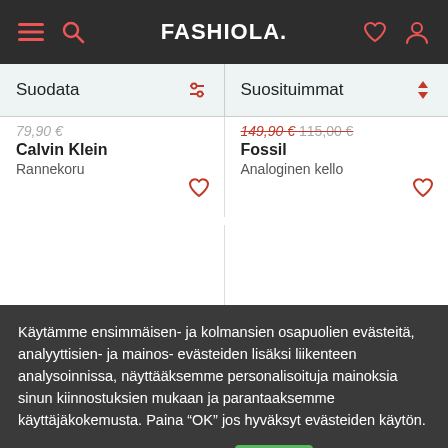FASHIOLA.
Suodata | Suosituimmat
Calvin Klein
Rannekoru
Fossil
Analoginen kello
Käytämme ensimmäisen- ja kolmansien osapuolien evästeitä, analyyttisien- ja mainos- evästeiden lisäksi liikenteen analysoinnissa, näyttääksemme personalisoituja mainoksia sinun kiinnostuksien mukaan ja parantaaksemme käyttäjäkokemusta. Paina "OK" jos hyväksyt evästeiden käytön.
Lisätietoja
OK